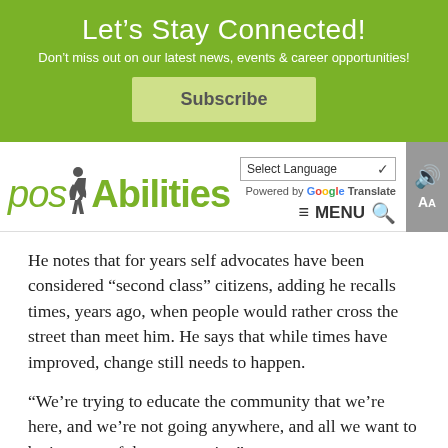Let’s Stay Connected!
Don’t miss out on our latest news, events & career opportunities!
Subscribe
[Figure (logo): posAbilities logo with green text and a human figure silhouette]
Select Language ▼ Powered by Google Translate ≡ MENU 🔍
He notes that for years self advocates have been considered “second class” citizens, adding he recalls times, years ago, when people would rather cross the street than meet him. He says that while times have improved, change still needs to happen.
“We’re trying to educate the community that we’re here, and we’re not going anywhere, and all we want to be is a part of the community.”
As producer of a local radio program, Dave says a main message